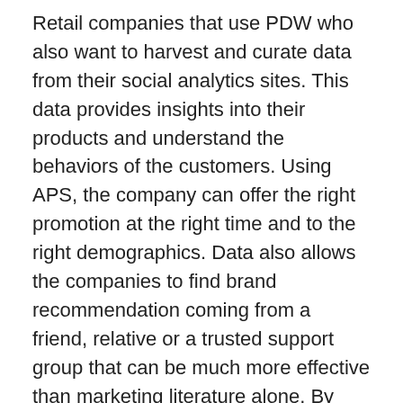Retail companies that use PDW who also want to harvest and curate data from their social analytics sites. This data provides insights into their products and understand the behaviors of the customers. Using APS, the company can offer the right promotion at the right time and to the right demographics. Data also allows the companies to find brand recommendation coming from a friend, relative or a trusted support group that can be much more effective than marketing literature alone. By monitoring and profiling social media, these companies can also gain a competitive advantage.
Today's empowered shoppers want personalized offers that appeal to their emotional needs. Using social media retailers offer promotions that are tailored to individuals using real-time analytics. This process starts by ranking blogs, forums, Twitter feed and Facebook posts for predetermined KPIs revealed in these posts and conversations. Retail organizations analyze and use the